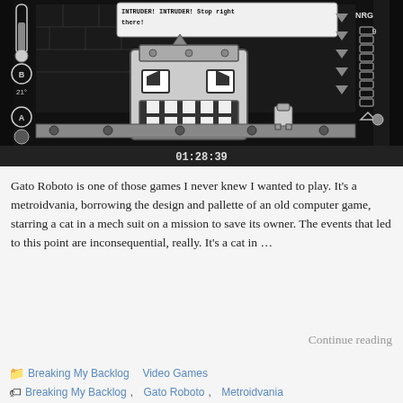[Figure (screenshot): Screenshot of Gato Roboto game, a monochrome metroidvania game showing a robot cat character, a large face-shaped enemy/boss with menacing expression, HUD elements including NRG bar showing 9, thermometer showing 21 degrees, and a timer showing 01:28:39. The game has a black and white palette mimicking old computer games.]
Gato Roboto is one of those games I never knew I wanted to play. It's a metroidvania, borrowing the design and pallette of an old computer game, starring a cat in a mech suit on a mission to save its owner. The events that led to this point are inconsequential, really. It's a cat in …
Continue reading
Breaking My Backlog  Video Games
Breaking My Backlog, Gato Roboto, Metroidvania